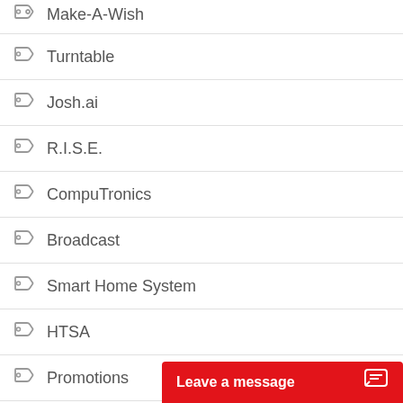Make-A-Wish
Turntable
Josh.ai
R.I.S.E.
CompuTronics
Broadcast
Smart Home System
HTSA
Promotions
Outdoor Speakers
Lead-Safe Certified
CE Pro Top 100
Moving Sale
Craftsmanship
Sale
Smart Lighting Contr…
Leave a message